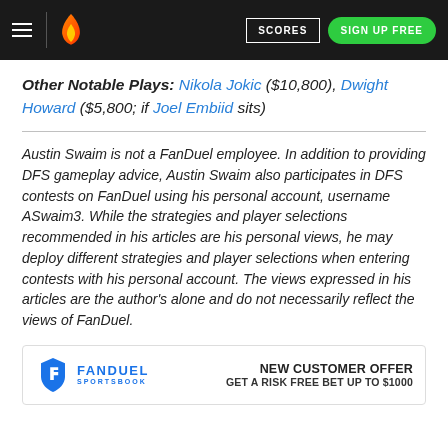SCORES | SIGN UP FREE
Other Notable Plays: Nikola Jokic ($10,800), Dwight Howard ($5,800; if Joel Embiid sits)
Austin Swaim is not a FanDuel employee. In addition to providing DFS gameplay advice, Austin Swaim also participates in DFS contests on FanDuel using his personal account, username ASwaim3. While the strategies and player selections recommended in his articles are his personal views, he may deploy different strategies and player selections when entering contests with his personal account. The views expressed in his articles are the author's alone and do not necessarily reflect the views of FanDuel.
[Figure (logo): FanDuel Sportsbook logo with shield icon]
NEW CUSTOMER OFFER GET A RISK FREE BET UP TO $1000